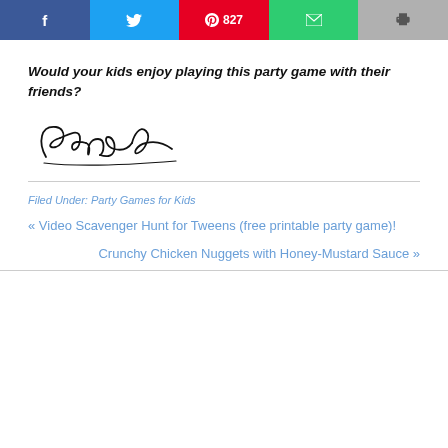[Figure (infographic): Social share buttons bar: Facebook (blue), Twitter (cyan), Pinterest (red, 827 saves), Email (green), Print (gray)]
Would your kids enjoy playing this party game with their friends?
[Figure (illustration): Cursive signature reading 'Sharon']
Filed Under: Party Games for Kids
« Video Scavenger Hunt for Tweens (free printable party game)!
Crunchy Chicken Nuggets with Honey-Mustard Sauce »